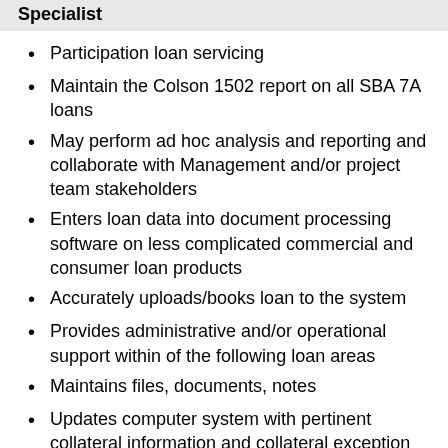Specialist
Participation loan servicing
Maintain the Colson 1502 report on all SBA 7A loans
May perform ad hoc analysis and reporting and collaborate with Management and/or project team stakeholders
Enters loan data into document processing software on less complicated commercial and consumer loan products
Accurately uploads/books loan to the system
Provides administrative and/or operational support within of the following loan areas
Maintains files, documents, notes
Updates computer system with pertinent collateral information and collateral exception information